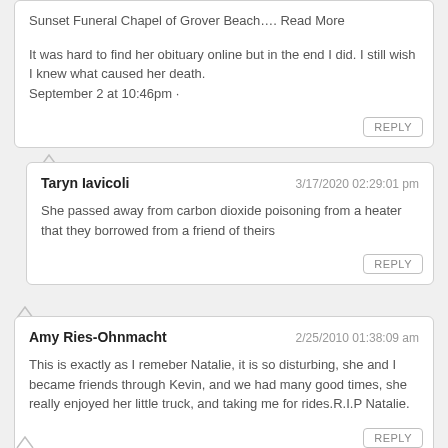Sunset Funeral Chapel of Grover Beach…. Read More

It was hard to find her obituary online but in the end I did. I still wish I knew what caused her death.
September 2 at 10:46pm ·
Taryn Iavicoli    3/17/2020 02:29:01 pm
She passed away from carbon dioxide poisoning from a heater that they borrowed from a friend of theirs
Amy Ries-Ohnmacht    2/25/2010 01:38:09 am
This is exactly as I remeber Natalie, it is so disturbing, she and I became friends through Kevin, and we had many good times, she really enjoyed her little truck, and taking me for rides.R.I.P Natalie.